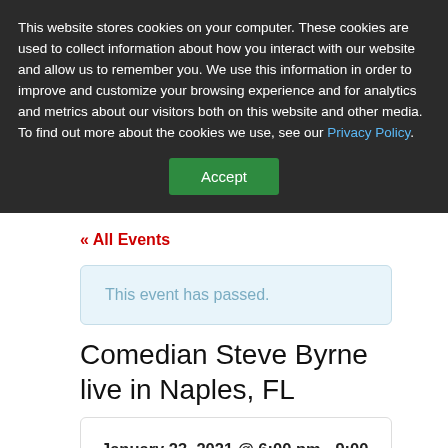This website stores cookies on your computer. These cookies are used to collect information about how you interact with our website and allow us to remember you. We use this information in order to improve and customize your browsing experience and for analytics and metrics about our visitors both on this website and other media. To find out more about the cookies we use, see our Privacy Policy.
Accept
« All Events
This event has passed.
Comedian Steve Byrne live in Naples, FL
January 23, 2021 @ 6:00 pm - 9:00 pm
Recurring Event (See all)